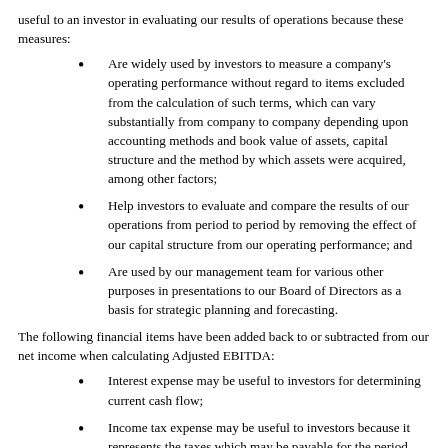useful to an investor in evaluating our results of operations because these measures:
Are widely used by investors to measure a company's operating performance without regard to items excluded from the calculation of such terms, which can vary substantially from company to company depending upon accounting methods and book value of assets, capital structure and the method by which assets were acquired, among other factors;
Help investors to evaluate and compare the results of our operations from period to period by removing the effect of our capital structure from our operating performance; and
Are used by our management team for various other purposes in presentations to our Board of Directors as a basis for strategic planning and forecasting.
The following financial items have been added back to or subtracted from our net income when calculating Adjusted EBITDA:
Interest expense may be useful to investors for determining current cash flow;
Income tax expense may be useful to investors because it represents the taxes which may be payable for the period and the change in deferred taxes during the period, and may reduce cash flow available for use in our business;